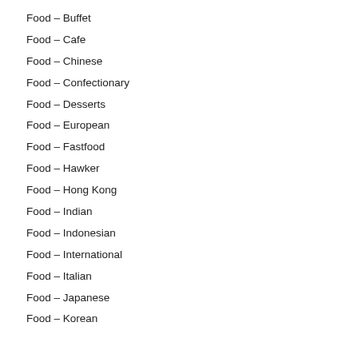Food – Buffet
Food – Cafe
Food – Chinese
Food – Confectionary
Food – Desserts
Food – European
Food – Fastfood
Food – Hawker
Food – Hong Kong
Food – Indian
Food – Indonesian
Food – International
Food – Italian
Food – Japanese
Food – Korean